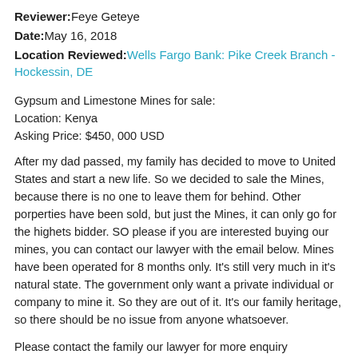Reviewer: Feye Geteye
Date: May 16, 2018
Location Reviewed: Wells Fargo Bank: Pike Creek Branch - Hockessin, DE
Gypsum and Limestone Mines for sale:
Location: Kenya
Asking Price: $450, 000 USD
After my dad passed, my family has decided to move to United States and start a new life. So we decided to sale the Mines, because there is no one to leave them for behind. Other porperties have been sold, but just the Mines, it can only go for the highets bidder. SO please if you are interested buying our mines, you can contact our lawyer with the email below. Mines have been operated for 8 months only. It's still very much in it's natural state. The government only want a private individual or company to mine it. So they are out of it. It's our family heritage, so there should be no issue from anyone whatsoever.
Please contact the family our lawyer for more enquiry